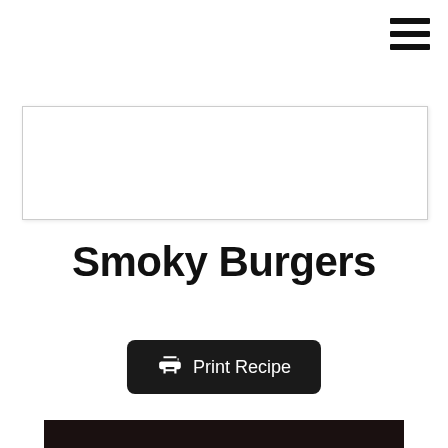[Figure (other): Hamburger menu icon (three horizontal bars) in top-right corner]
[Figure (other): White advertisement placeholder box with light border and shadow]
Smoky Burgers
[Figure (other): Black rounded button with printer icon and text 'Print Recipe']
[Figure (photo): Photo of a toasted burger bun on a grill/pan, close-up view showing golden-brown toasted surface]